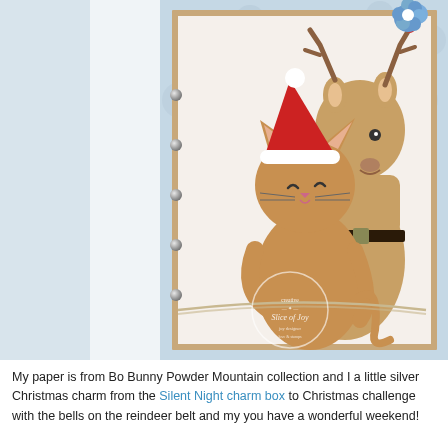[Figure (photo): A handmade Christmas card featuring a cute cat wearing a Santa hat hugging a reindeer, both illustrated in a vintage style. The card has layers of kraft/tan, white, and blue polka-dot patterned paper with silver brads on the left side and twine embellishment. A watermark circle logo is visible at the bottom center. The photo is partially cropped with a light blue-gray background visible on the left side.]
My paper is from Bo Bunny Powder Mountain collection and I a little silver Christmas charm from the Silent Night charm box to Christmas challenge with the bells on the reindeer belt and my you have a wonderful weekend!